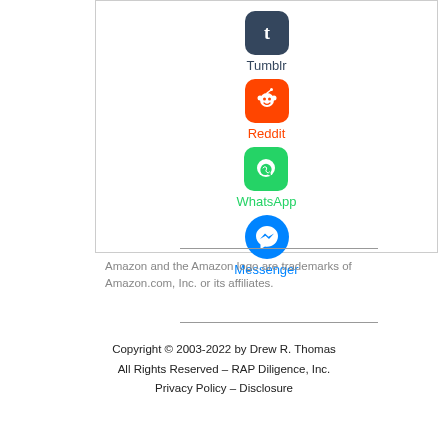[Figure (illustration): Social media sharing icons: Tumblr (dark blue square with 't'), Reddit (orange square with alien mascot), WhatsApp (green square with phone icon), Messenger (blue circle with lightning bolt chat icon), each with their name label below]
Amazon and the Amazon logo are trademarks of Amazon.com, Inc. or its affiliates.
Copyright © 2003-2022 by Drew R. Thomas
All Rights Reserved – RAP Diligence, Inc.
Privacy Policy – Disclosure